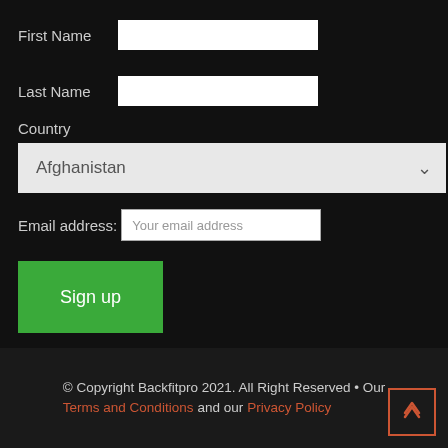First Name
Last Name
Country
Afghanistan
Email address: Your email address
Sign up
© Copyright Backfitpro 2021. All Right Reserved • Our Terms and Conditions and our Privacy Policy